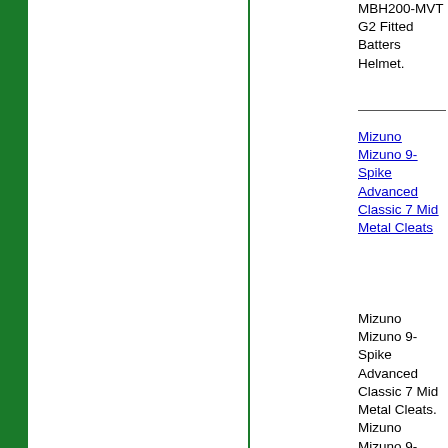[Figure (photo): Green sidebar on left, white product image areas with vertical green dividers]
MBH200-MVT G2 Fitted Batters Helmet.
Mizuno Mizuno 9-Spike Advanced Classic 7 Mid Metal Cleats
Mizuno Mizuno 9-Spike Advanced Classic 7 Mid Metal Cleats. Mizuno Mizuno 9-Spike Advanced Classic 7 Mid Metal Cleats. Premium Dynamic Synthetic Leather for superior feel, durability, comfort, and breathability Wave technology